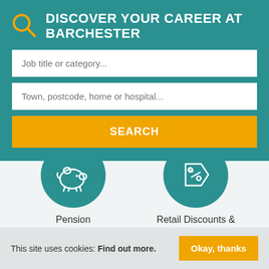DISCOVER YOUR CAREER AT BARCHESTER
Job title or category...
Town, postcode, home or hospital...
SEARCH
[Figure (illustration): Teal circle with white piggy bank icon representing Pension Scheme benefit]
Pension Scheme
[Figure (illustration): Teal circle with white discount tag/price tag icon representing Retail Discounts & Savings benefit]
Retail Discounts & Savings
[Figure (illustration): Teal circle with white numbered list icon representing another benefit, partially visible]
[Figure (illustration): Teal circle with white pound/currency icon representing another benefit, partially visible]
This site uses cookies: Find out more.
Okay, thanks